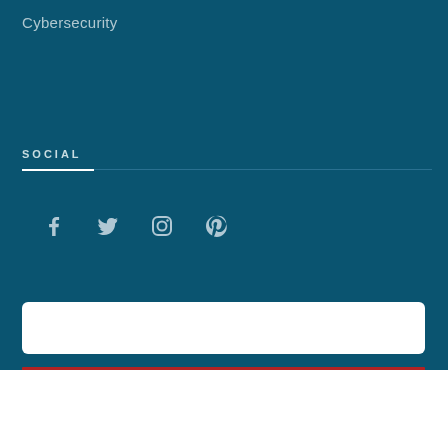Cybersecurity
SOCIAL
[Figure (other): Social media icons: Facebook, Twitter, Instagram, Pinterest]
[Figure (other): White rounded rectangle input box]
[Figure (other): Red horizontal bar below input box]